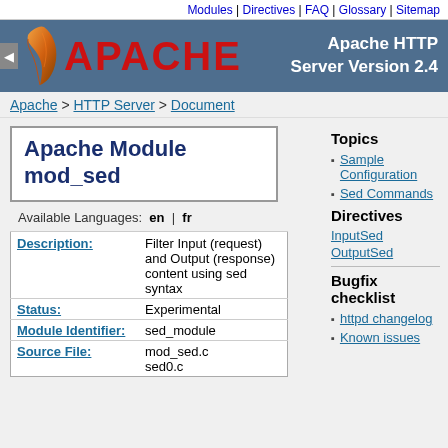Modules | Directives | FAQ | Glossary | Sitemap
[Figure (logo): Apache HTTP Server Version 2.4 banner with Apache feather logo and red APACHE text on dark blue-grey background]
Apache > HTTP Server > Document
Apache Module mod_sed
Available Languages: en | fr
| Field | Value |
| --- | --- |
| Description: | Filter Input (request) and Output (response) content using sed syntax |
| Status: | Experimental |
| Module Identifier: | sed_module |
| Source File: | mod_sed.c sed0.c |
Topics
Sample Configuration
Sed Commands
Directives
InputSed
OutputSed
Bugfix checklist
httpd changelog
Known issues